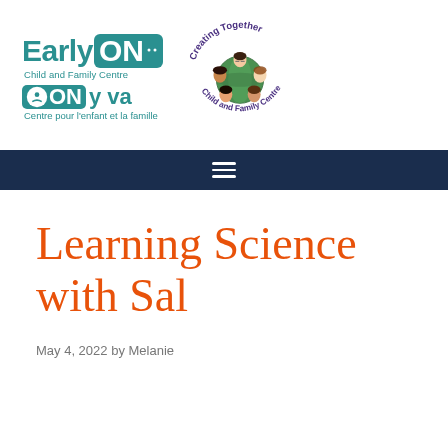[Figure (logo): EarlyON Child and Family Centre / ON y va Centre pour l'enfant et la famille logo with teal text and branding, alongside Creating Together Child and Family Centre circular logo with children illustration]
≡
Learning Science with Sal
May 4, 2022 by Melanie